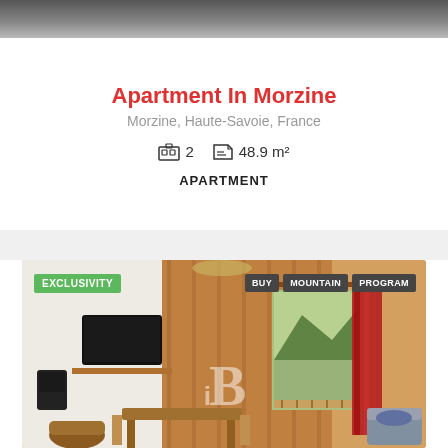[Figure (photo): Top portion of a property photo, dark/greyed out banner at top of page]
Apartment In Morzine
Morzine, Haute-Savoie, France
2  48.9 m²
APARTMENT
[Figure (photo): Interior photo of a mountain apartment in Morzine showing living area with wood paneling, TV, dining table, window with mountain view and red curtains. Overlaid with EXCLUSIVITY badge, BUY MOUNTAIN PROGRAM tags, and iB logo watermark.]